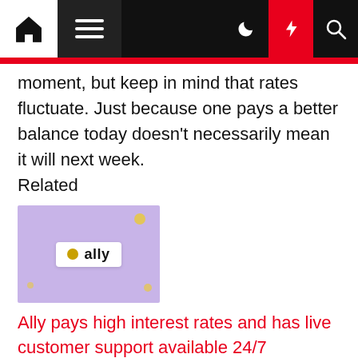Navigation bar with home, menu, moon, lightning, and search icons
moment, but keep in mind that rates fluctuate. Just because one pays a better balance today doesn't necessarily mean it will next week.
Related
[Figure (photo): Ally bank logo on a purple/lavender background with a white badge showing a gold dot and the word 'ally']
Ally pays high interest rates and has live customer support available 24/7
Capital One is considered an online bank, but it also has over 470 branches in eight US states and DC. You might prefer Capital One if you live near a branch and want the option to speak with a banker face-to-face.